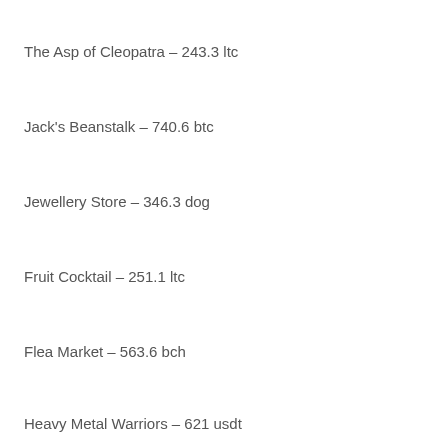The Asp of Cleopatra – 243.3 ltc
Jack's Beanstalk – 740.6 btc
Jewellery Store – 346.3 dog
Fruit Cocktail – 251.1 ltc
Flea Market – 563.6 bch
Heavy Metal Warriors – 621 usdt